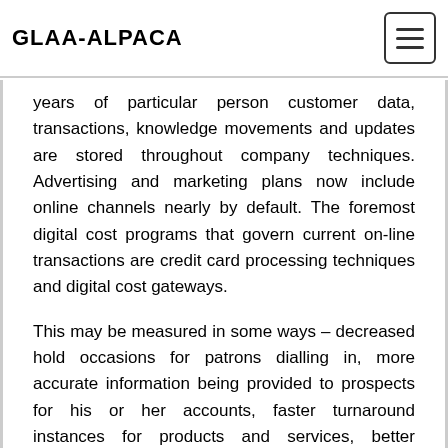GLAA-ALPACA
years of particular person customer data, transactions, knowledge movements and updates are stored throughout company techniques. Advertising and marketing plans now include online channels nearly by default. The foremost digital cost programs that govern current on-line transactions are credit card processing techniques and digital cost gateways.
This may be measured in some ways – decreased hold occasions for patrons dialling in, more accurate information being provided to prospects for his or her accounts, faster turnaround instances for products and services, better administration of information and how to apply it to a buyer.
technology used in business management